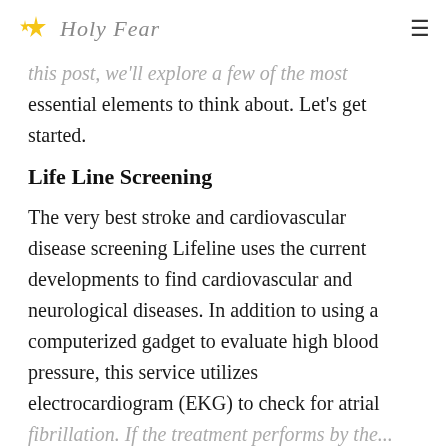Holy Fear
this post, we'll explore a few of the most essential elements to think about. Let's get started.
Life Line Screening
The very best stroke and cardiovascular disease screening Lifeline uses the current developments to find cardiovascular and neurological diseases. In addition to using a computerized gadget to evaluate high blood pressure, this service utilizes electrocardiogram (EKG) to check for atrial fibrillation. If the treatment performs by the...